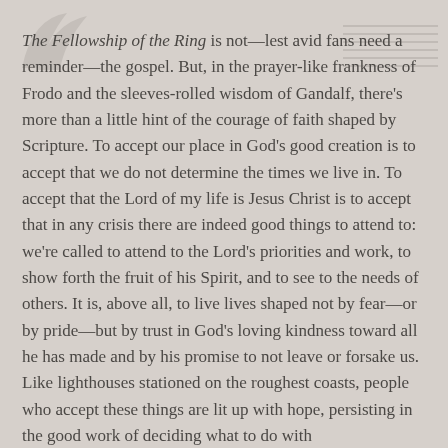The Fellowship of the Ring is not—lest avid fans need a reminder—the gospel. But, in the prayer-like frankness of Frodo and the sleeves-rolled wisdom of Gandalf, there's more than a little hint of the courage of faith shaped by Scripture. To accept our place in God's good creation is to accept that we do not determine the times we live in. To accept that the Lord of my life is Jesus Christ is to accept that in any crisis there are indeed good things to attend to: we're called to attend to the Lord's priorities and work, to show forth the fruit of his Spirit, and to see to the needs of others. It is, above all, to live lives shaped not by fear—or by pride—but by trust in God's loving kindness toward all he has made and by his promise to not leave or forsake us. Like lighthouses stationed on the roughest coasts, people who accept these things are lit up with hope, persisting in the good work of deciding what to do with